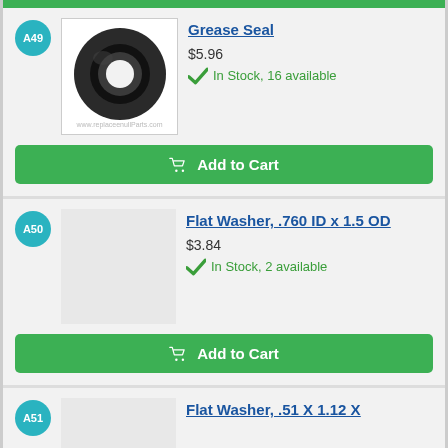[Figure (other): Green add to cart button bar at top of page]
A49
[Figure (photo): Photo of a black rubber grease seal ring]
Grease Seal
$5.96
In Stock, 16 available
Add to Cart
A50
Flat Washer, .760 ID x 1.5 OD
$3.84
In Stock, 2 available
Add to Cart
A51
Flat Washer, .51 X 1.12 X